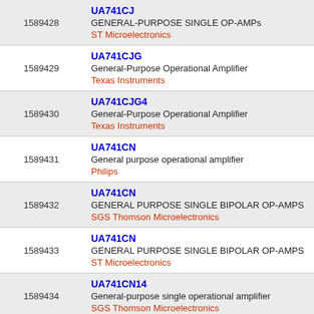| ID | Part / Description / Manufacturer |
| --- | --- |
| 1589428 | UA741CJ | GENERAL-PURPOSE SINGLE OP-AMPs | ST Microelectronics |
| 1589429 | UA741CJG | General-Purpose Operational Amplifier | Texas Instruments |
| 1589430 | UA741CJG4 | General-Purpose Operational Amplifier | Texas Instruments |
| 1589431 | UA741CN | General purpose operational amplifier | Philips |
| 1589432 | UA741CN | GENERAL PURPOSE SINGLE BIPOLAR OP-AMPS | SGS Thomson Microelectronics |
| 1589433 | UA741CN | GENERAL PURPOSE SINGLE BIPOLAR OP-AMPS | ST Microelectronics |
| 1589434 | UA741CN14 | General-purpose single operational amplifier | SGS Thomson Microelectronics |
| 1589435 | UA741CN14 | GENERAL-PURPOSE SINGLE OP-AMPs | ... |